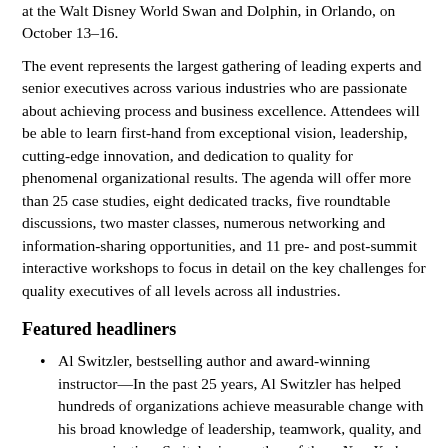at the Walt Disney World Swan and Dolphin, in Orlando, on October 13–16.
The event represents the largest gathering of leading experts and senior executives across various industries who are passionate about achieving process and business excellence. Attendees will be able to learn first-hand from exceptional vision, leadership, cutting-edge innovation, and dedication to quality for phenomenal organizational results. The agenda will offer more than 25 case studies, eight dedicated tracks, five roundtable discussions, two master classes, numerous networking and information-sharing opportunities, and 11 pre- and post-summit interactive workshops to focus in detail on the key challenges for quality executives of all levels across all industries.
Featured headliners
Al Switzler, bestselling author and award-winning instructor—In the past 25 years, Al Switzler has helped hundreds of organizations achieve measurable change with his broad knowledge of leadership, teamwork, quality, and communication. Switzler is coauthor of three New York Times bestsellers, Influencer: The Power to Change Anything, Crucial Conversations: Tools for Talking when Stakes are High, and Crucial Confrontations: Tools for